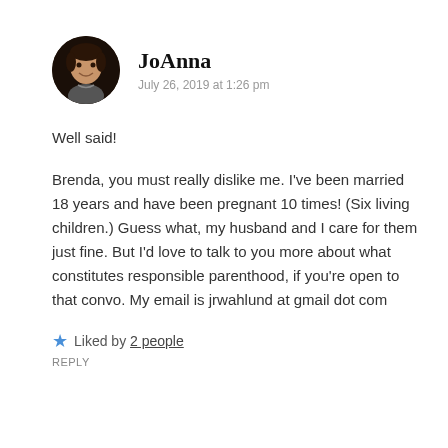[Figure (photo): Circular avatar photo of JoAnna, a woman with short dark hair, smiling, wearing a necklace, against a dark background.]
JoAnna
July 26, 2019 at 1:26 pm
Well said!
Brenda, you must really dislike me. I've been married 18 years and have been pregnant 10 times! (Six living children.) Guess what, my husband and I care for them just fine. But I'd love to talk to you more about what constitutes responsible parenthood, if you're open to that convo. My email is jrwahlund at gmail dot com
Liked by 2 people
REPLY